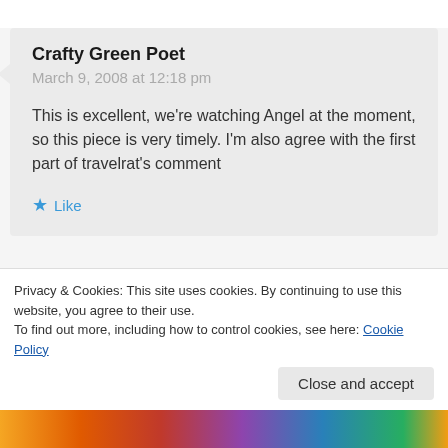Crafty Green Poet
March 9, 2008 at 12:18 pm
This is excellent, we're watching Angel at the moment, so this piece is very timely. I'm also agree with the first part of travelrat's comment
Like
the go.
GET THE APP
[Figure (logo): WordPress app icon — circular W logo on light blue rounded square background]
Privacy & Cookies: This site uses cookies. By continuing to use this website, you agree to their use.
To find out more, including how to control cookies, see here: Cookie Policy
Close and accept